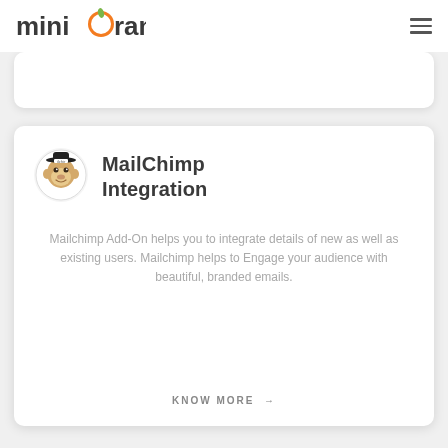miniOrange
[Figure (logo): miniOrange logo with orange circle and leaf icon]
MailChimp Integration
Mailchimp Add-On helps you to integrate details of new as well as existing users. Mailchimp helps to Engage your audience with beautiful, branded emails.
KNOW MORE →